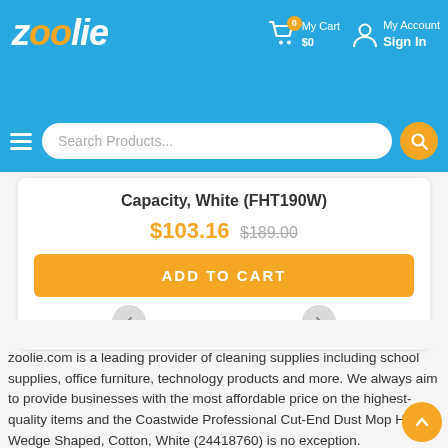zoolie — My Cart $0 | My Account Sign In
[Figure (screenshot): Zoolie.com e-commerce website header with logo, cart icon showing 0 items and $0, My Account Sign In link, hamburger menu, and search bar]
Capacity, White (FHT190W)
$103.16 $189.00
ADD TO CART
zoolie.com is a leading provider of cleaning supplies including school supplies, office furniture, technology products and more. We always aim to provide businesses with the most affordable price on the highest-quality items and the Coastwide Professional Cut-End Dust Mop Head, Wedge Shaped, Cotton, White (24418760) is no exception.